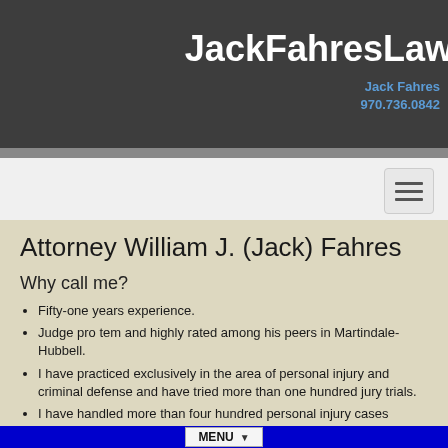JackFahresLaw
Jack Fahres
970.736.0842
Attorney William J. (Jack) Fahres
Why call me?
Fifty-one years experience.
Judge pro tem and highly rated among his peers in Martindale-Hubbell.
I have practiced exclusively in the area of personal injury and criminal defense and have tried more than one hundred jury trials.
I have handled more than four hundred personal injury cases ranging from simple slip and falls to complex brain damage.